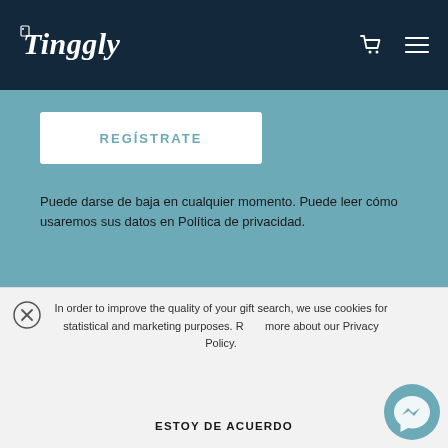[Figure (logo): Tinggly logo in white cursive font on dark navy header]
[Figure (screenshot): REGÍSTRATE white button on teal background]
Puede darse de baja en cualquier momento. Puede leer cómo usaremos sus datos en Política de privacidad.
EMPRESA
Nuestro equipo
Contacta
Corporativo
Sostenibilidad
Sé un Embajador
Programa de Afiliación
In order to improve the quality of your gift search, we use cookies for statistical and marketing purposes. Read more about our Privacy Policy.
ESTOY DE ACUERDO